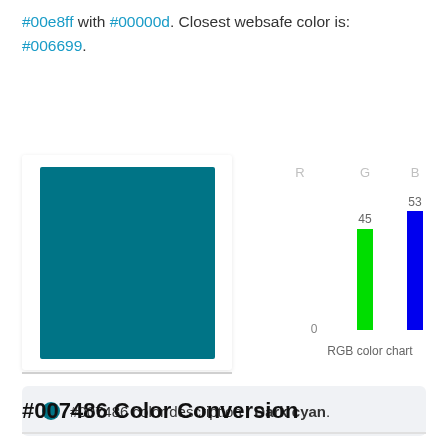#00e8ff with #00000d. Closest websafe color is: #006699.
[Figure (bar-chart): RGB color chart]
#007486 color description : Dark cyan.
#007486 Color Conversion